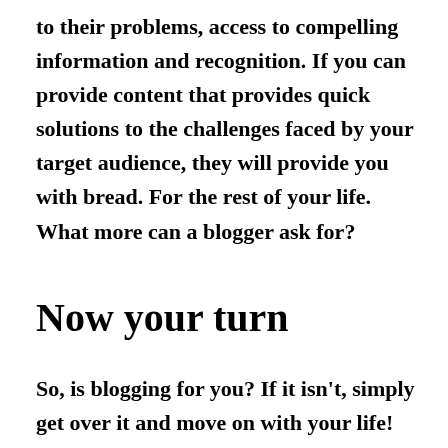to their problems, access to compelling information and recognition. If you can provide content that provides quick solutions to the challenges faced by your target audience, they will provide you with bread. For the rest of your life. What more can a blogger ask for?
Now your turn
So, is blogging for you? If it isn't, simply get over it and move on with your life!